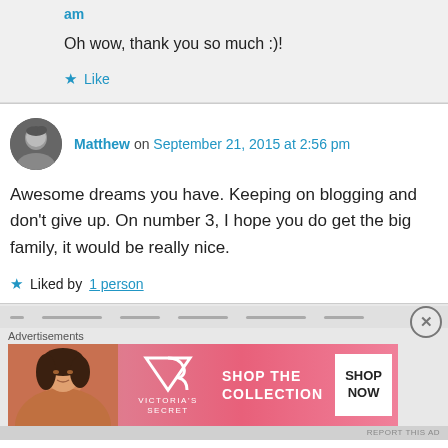am
Oh wow, thank you so much :)!
Like
Matthew on September 21, 2015 at 2:56 pm
Awesome dreams you have. Keeping on blogging and don't give up. On number 3, I hope you do get the big family, it would be really nice.
Liked by 1 person
[Figure (screenshot): Victoria's Secret advertisement banner with model photo, VS logo, 'SHOP THE COLLECTION' text, and 'SHOP NOW' button]
Advertisements